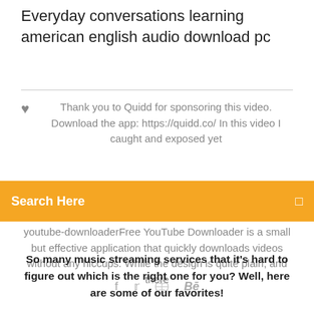Everyday conversations learning american english audio download pc
Thank you to Quidd for sponsoring this video. Download the app: https://quidd.co/ In this video I caught and exposed yet
Search Here
youtube-downloaderFree YouTube Downloader is a small but effective application that quickly downloads videos without any hiccups. While the design is quite plain, and there
So many music streaming services that it's hard to figure out which is the right one for you? Well, here are some of our favorites!